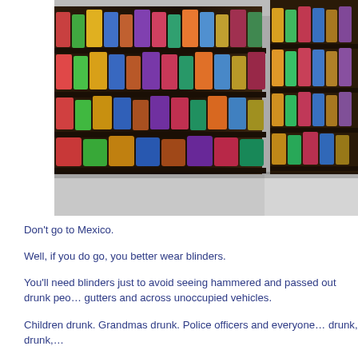[Figure (photo): Retail store shelves stocked with colorful packaged products, likely small bottles or jars of various beverages, viewed at an angle in a large store aisle.]
Don't go to Mexico.
Well, if you do go, you better wear blinders.
You'll need blinders just to avoid seeing hammered and passed out drunk peo… gutters and across unoccupied vehicles.
Children drunk. Grandmas drunk. Police officers and everyone… drunk, drunk,…
Why?
Jeez, they got booze everywhere is why.
Booze in cool little bottles with tiny sombreros and colorful sashes being…